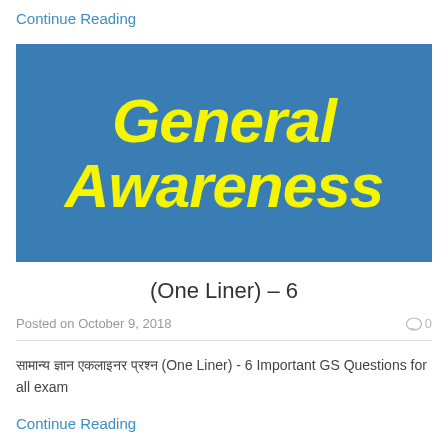Continue Reading
[Figure (illustration): Blue banner with bold italic yellow text reading 'General Awareness']
(One Liner) – 6
Posted on October 9, 2018
0
सामान्य ज्ञान एकलाइनर प्रश्न (One Liner) - 6 Important GS Questions for all exam
Continue Reading